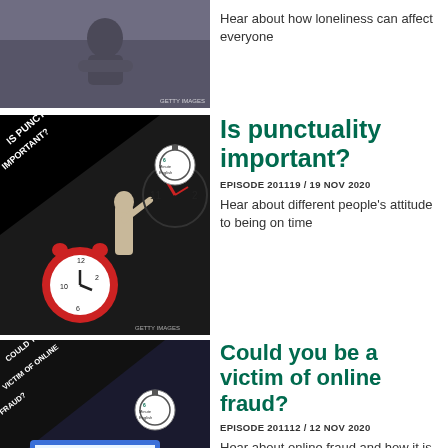[Figure (photo): Person sitting alone, loneliness themed photo, Getty Images watermark]
Hear about how loneliness can affect everyone
[Figure (photo): Is Punctuality Important? episode thumbnail with alarm clock and person pushing clock hands. 6 Minute English logo. Getty Images.]
Is punctuality important?
EPISODE 201119 / 19 NOV 2020
Hear about different people's attitude to being on time
[Figure (photo): Could You Be a Victim of Online Fraud? episode thumbnail with cartoon figures and computer screen. 6 Minute English logo. Getty Images.]
Could you be a victim of online fraud?
EPISODE 201112 / 12 NOV 2020
Hear about online fraud and how it is becoming more common